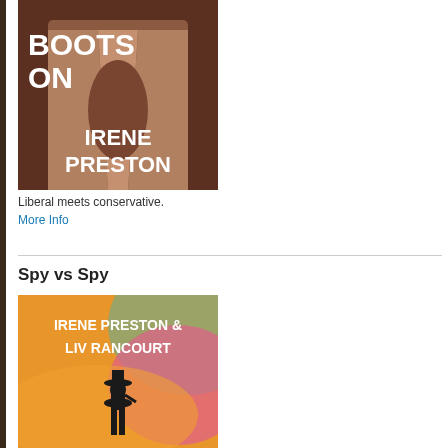[Figure (photo): Book cover showing a shirtless man with open shirt, dark sepia tone. Text reads 'BOOTS ON' at top and 'IRENE PRESTON' at bottom. Author name in large white bold text.]
Liberal meets conservative.
More Info
Spy vs Spy
[Figure (illustration): Book cover with colorful orange, pink, and teal swirling background. Text reads 'IRENE PRESTON & LIV RANCOURT' in white bold text at top. Silhouette of a person in a cowboy hat at the bottom.]